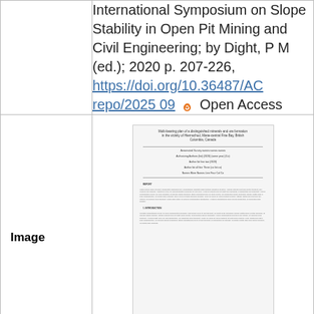| Field | Value |
| --- | --- |
|  | International Symposium on Slope Stability in Open Pit Mining and Civil Engineering; by Dight, P M (ed.); 2020 p. 207-226, https://doi.org/10.36487/AC repo/2025 09 🔓 Open Access |
| Image | [thumbnail of document] |
| Year | 2020 |
| Alt Series | Natural Resources Canada |